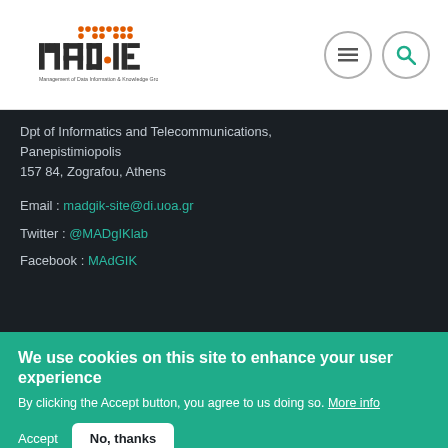[Figure (logo): MAD·IK logo — Management of Data Information & Knowledge Group, orange/teal pixel dot matrix design]
Dpt of Informatics and Telecommunications, Panepistimiopolis
157 84, Zografou, Athens
Email : madgik-site@di.uoa.gr
Twitter : @MADgIKlab
Facebook : MAdGIK
We use cookies on this site to enhance your user experience
By clicking the Accept button, you agree to us doing so. More info
Accept   No, thanks